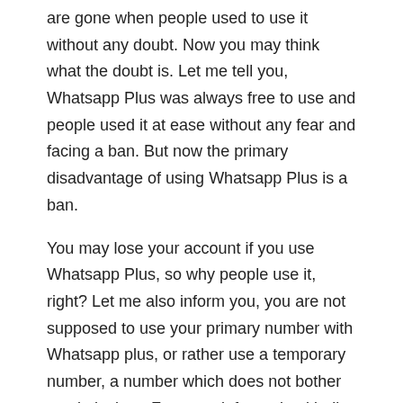are gone when people used to use it without any doubt. Now you may think what the doubt is. Let me tell you, Whatsapp Plus was always free to use and people used it at ease without any fear and facing a ban. But now the primary disadvantage of using Whatsapp Plus is a ban.
You may lose your account if you use Whatsapp Plus, so why people use it, right? Let me also inform you, you are not supposed to use your primary number with Whatsapp plus, or rather use a temporary number, a number which does not bother you in its ban. For more information kindly read the safe use of WA+.
Installation guide
This installation guide is given here for them who are not familiar with a manual installation. If you do not really know how to install WhatsApp Plus APK file into your Android, then you are welcome to read the guide, to install the WA PLUS APK, you need to follow